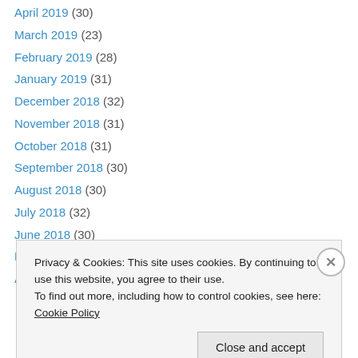April 2019 (30)
March 2019 (23)
February 2019 (28)
January 2019 (31)
December 2018 (32)
November 2018 (31)
October 2018 (31)
September 2018 (30)
August 2018 (30)
July 2018 (32)
June 2018 (30)
May 2018 (32)
April 2018 (30)
Privacy & Cookies: This site uses cookies. By continuing to use this website, you agree to their use. To find out more, including how to control cookies, see here: Cookie Policy
Close and accept